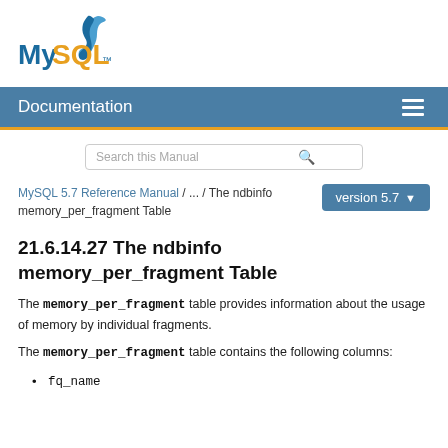[Figure (logo): MySQL logo with dolphin icon, 'MySQL' text in blue and orange]
Documentation
Search this Manual
MySQL 5.7 Reference Manual / ... / The ndbinfo memory_per_fragment Table
21.6.14.27 The ndbinfo memory_per_fragment Table
The memory_per_fragment table provides information about the usage of memory by individual fragments.
The memory_per_fragment table contains the following columns:
fq_name